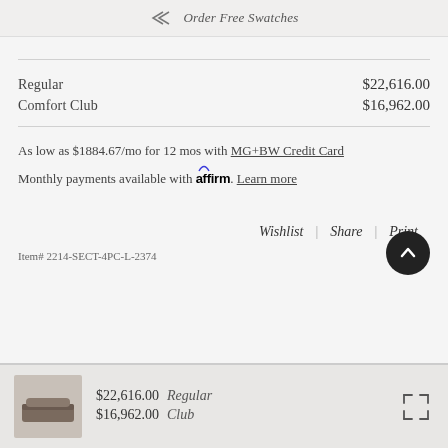Order Free Swatches
Regular $22,616.00
Comfort Club $16,962.00
As low as $1884.67/mo for 12 mos with MG+BW Credit Card
Monthly payments available with affirm. Learn more
Wishlist | Share | Print
Item# 2214-SECT-4PC-L-2374
$22,616.00 Regular
$16,962.00 Club